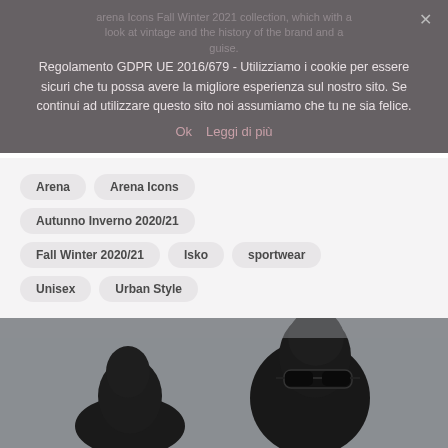arena Icons Fall Winter 2021 collection, which with a look at vintage and the history of the brand and a guise.
Regolamento GDPR UE 2016/679 - Utilizziamo i cookie per essere sicuri che tu possa avere la migliore esperienza sul nostro sito. Se continui ad utilizzare questo sito noi assumiamo che tu ne sia felice.
Ok  Leggi di più
Arena
Arena Icons
Autunno Inverno 2020/21
Fall Winter 2020/21
Isko
sportwear
Unisex
Urban Style
[Figure (photo): Two dark-skinned models on a grey background; one wearing black sunglasses, upper portion of faces visible]